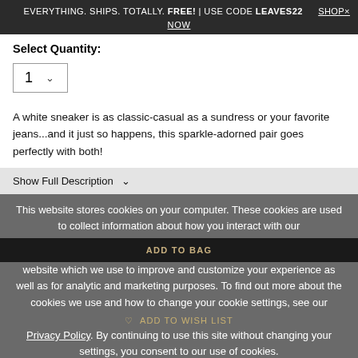EVERYTHING. SHIPS. TOTALLY. FREE! | USE CODE LEAVES22   SHOP×
NOW
Select Quantity:
1  ∨
A white sneaker is as classic-casual as a sundress or your favorite jeans...and it just so happens, this sparkle-adorned pair goes perfectly with both!
Show Full Description  ∨
This website stores cookies on your computer. These cookies are used to collect information about how you interact with our website which we use to improve and customize your experience as well as for analytic and marketing purposes. To find out more about the cookies we use and how to change your cookie settings, see our Privacy Policy. By continuing to use this site without changing your settings, you consent to our use of cookies.
ADD TO BAG
♡  ADD TO WISH LIST
YOU'LL ALSO LOVE
I AGREE
[Figure (photo): Thumbnail product images in a row at the bottom of the page]